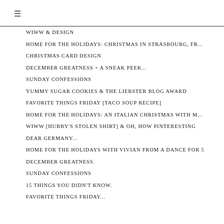≡
WIWW & DESIGN
HOME FOR THE HOLIDAYS: CHRISTMAS IN STRASBOURG, FR...
CHRISTMAS CARD DESIGN
DECEMBER GREATNESS + A SNEAK PEEK...
SUNDAY CONFESSIONS
YUMMY SUGAR COOKIES & THE LIEBSTER BLOG AWARD
FAVORITE THINGS FRIDAY [TACO SOUP RECIPE]
HOME FOR THE HOLIDAYS: AN ITALIAN CHRISTMAS WITH M...
WIWW [HUBBY'S STOLEN SHIRT] & OH, HOW PINTERESTING
DEAR GERMANY...
HOME FOR THE HOLIDAYS WITH VIVIAN FROM A DANCE FOR 5
DECEMBER GREATNESS.
SUNDAY CONFESSIONS
15 THINGS YOU DIDN'T KNOW.
FAVORITE THINGS FRIDAY...